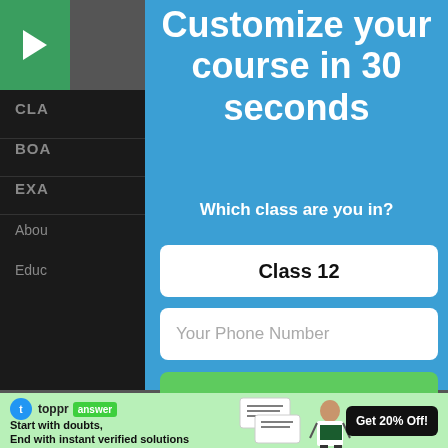[Figure (screenshot): Screenshot of an educational website showing a modal overlay with 'Customize your course in 30 seconds' prompt, class selector showing 'Class 12', phone number input field, and a green CTA button. Background shows navigation menu items (CLASS, BOARD, EXAM) and a Toppr Answer banner ad at the bottom.]
Customize your course in 30 seconds
Which class are you in?
Class 12
Your Phone Number
CLA
BOA
EXA
Abou
Educ
Start with doubts,
End with instant verified solutions
Get 20% Off!